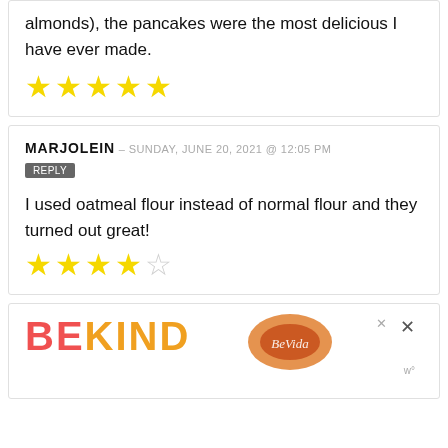almonds), the pancakes were the most delicious I have ever made.
[Figure (other): 5 filled yellow stars rating]
MARJOLEIN — SUNDAY, JUNE 20, 2021 @ 12:05 PM
REPLY
I used oatmeal flour instead of normal flour and they turned out great!
[Figure (other): 4 filled yellow stars and 1 empty star rating]
[Figure (other): Advertisement: BE KIND with decorative image]